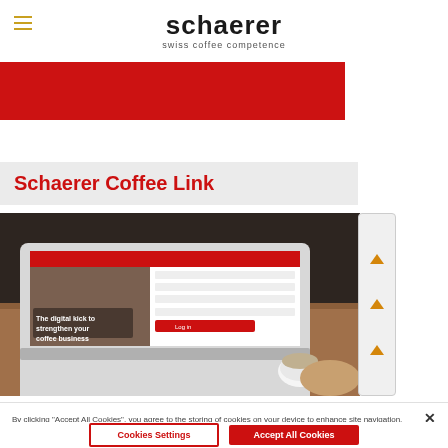schaerer — swiss coffee competence
[Figure (photo): Red banner / hero image area at top of schaerer website]
Schaerer Coffee Link
[Figure (screenshot): Screenshot of Schaerer Coffee Link website shown on a laptop computer on a wooden table, with text 'The digital kick to strengthen your coffee business']
By clicking "Accept All Cookies", you agree to the storing of cookies on your device to enhance site navigation, analyze site usage, and assist in our marketing efforts.
Cookies Settings
Accept All Cookies